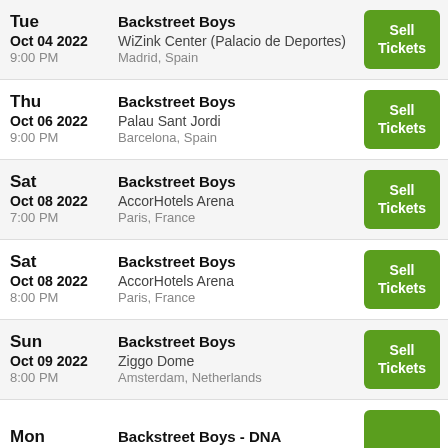Tue Oct 04 2022 9:00 PM — Backstreet Boys, WiZink Center (Palacio de Deportes), Madrid, Spain
Thu Oct 06 2022 9:00 PM — Backstreet Boys, Palau Sant Jordi, Barcelona, Spain
Sat Oct 08 2022 7:00 PM — Backstreet Boys, AccorHotels Arena, Paris, France
Sat Oct 08 2022 8:00 PM — Backstreet Boys, AccorHotels Arena, Paris, France
Sun Oct 09 2022 8:00 PM — Backstreet Boys, Ziggo Dome, Amsterdam, Netherlands
Mon — Backstreet Boys - DNA